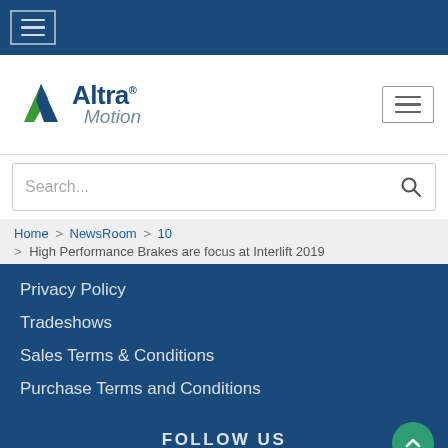[Figure (screenshot): Top dark blue navigation bar with hamburger menu icon]
[Figure (logo): Altra Motion company logo with green/blue arrow icon, blue Altra text and gray Motion text]
[Figure (screenshot): Search bar with placeholder text Search... and magnifying glass icon]
Home > NewsRoom > 10
> High Performance Brakes are focus at Interlift 2019
Privacy Policy
Tradeshows
Sales Terms & Conditions
Purchase Terms and Conditions
FOLLOW US